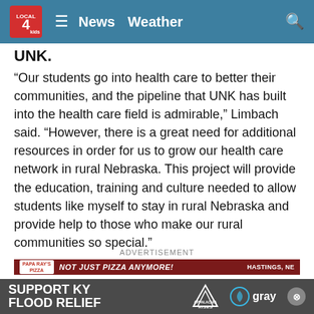LOCAL 4 News   Weather
UNK.
“Our students go into health care to better their communities, and the pipeline that UNK has built into the health care field is admirable,” Limbach said. “However, there is a great need for additional resources in order for us to grow our health care network in rural Nebraska. This project will provide the education, training and culture needed to allow students like myself to stay in rural Nebraska and provide help to those who make our rural communities so special.”
ADVERTISEMENT
[Figure (screenshot): Papa Ray's Pizza advertisement banner: NOT JUST PIZZA ANYMORE! HASTINGS, NE]
[Figure (screenshot): Support KY Flood Relief - Appalachia Rises - Gray television network banner]